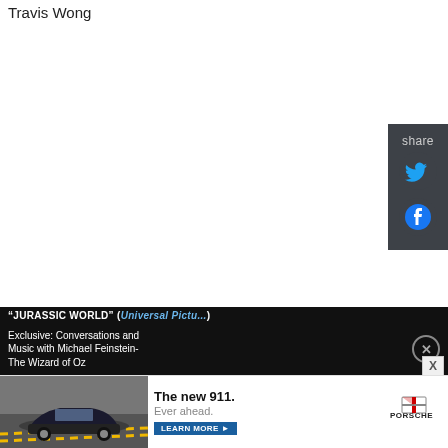Travis Wong
[Figure (screenshot): Social share panel with Twitter and Facebook icons on dark gray background, positioned on the right side]
"JURASSIC WORLD" (Universal Pictures)
[Figure (screenshot): Dark overlay notification bar: Exclusive: Conversations and Music with Michael Feinstein- The Wizard of Oz, with close X button]
[Figure (screenshot): Porsche advertisement showing new 911 car with text: The new 911. Ever ahead. LEARN MORE button and Porsche logo]